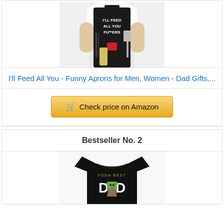[Figure (photo): Man wearing a black funny apron with text 'I'll Feed All You Fu**ers', holding cooking utensils]
I'll Feed All You - Funny Aprons for Men, Women - Dad Gifts,...
Check price on Amazon
Bestseller No. 2
[Figure (photo): Black t-shirt with 'Yoda Best Dad' print featuring Yoda character]